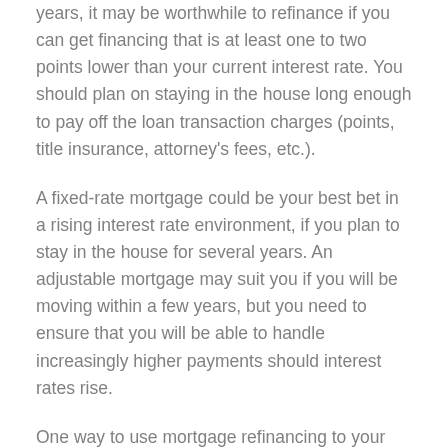years, it may be worthwhile to refinance if you can get financing that is at least one to two points lower than your current interest rate. You should plan on staying in the house long enough to pay off the loan transaction charges (points, title insurance, attorney's fees, etc.).
A fixed-rate mortgage could be your best bet in a rising interest rate environment, if you plan to stay in the house for several years. An adjustable mortgage may suit you if you will be moving within a few years, but you need to ensure that you will be able to handle increasingly higher payments should interest rates rise.
One way to use mortgage refinancing to your advantage is to take out a new mortgage for the same duration as your old mortgage. The lower interest rate will result in lower monthly payments.
For example, if you took out a $150,000 30-year fixed-rate mortgage at 7.5 percent (including